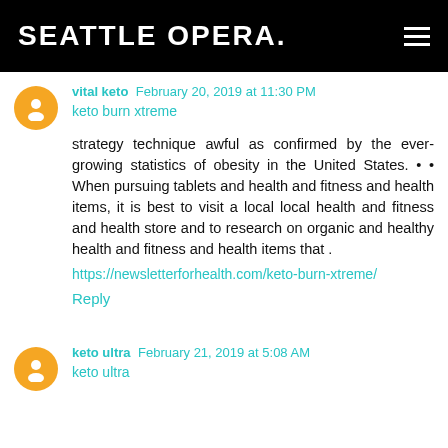SEATTLE OPERA.
vital keto February 20, 2019 at 11:30 PM
keto burn xtreme
strategy technique awful as confirmed by the ever-growing statistics of obesity in the United States. • • When pursuing tablets and health and fitness and health items, it is best to visit a local local health and fitness and health store and to research on organic and healthy health and fitness and health items that .
https://newsletterforhealth.com/keto-burn-xtreme/
Reply
keto ultra February 21, 2019 at 5:08 AM
keto ultra